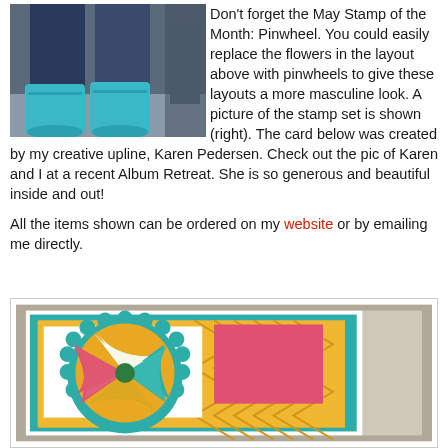[Figure (photo): Photo of two people's lower bodies, one wearing teal/turquoise boots, standing on pavement]
Don't forget the May Stamp of the Month: Pinwheel. You could easily replace the flowers in the layout above with pinwheels to give these layouts a more masculine look. A picture of the stamp set is shown (right). The card below was created by my creative upline, Karen Pedersen. Check out the pic of Karen and I at a recent Album Retreat. She is so generous and beautiful inside and out!
All the items shown can be ordered on my website or by emailing me directly.
[Figure (photo): Colorful handmade card featuring a pinwheel design with teal, yellow/gold, and pink patterned papers on a layered card background]